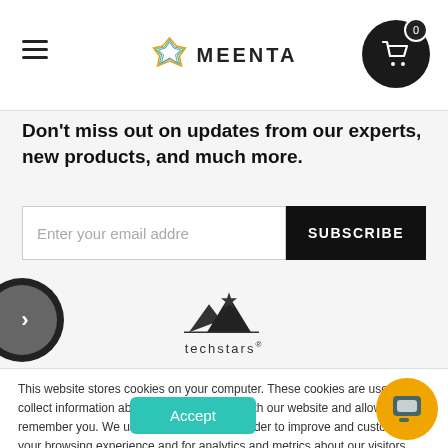MEENTA — navigation header with hamburger menu and cart (0 items)
Don't miss out on updates from our experts, new products, and much more.
Enter your email address | SUBSCRIBE button
[Figure (logo): Techstars logo with mountain and star icon, partially visible in carousel]
This website stores cookies on your computer. These cookies are used to collect information about how you interact with our website and allow us to remember you. We use this information in order to improve and customize your browsing experience and for analytics and metrics about our visitors both on this website and other media. To find out more about the cookies we use, see our Privacy Policy
Accept